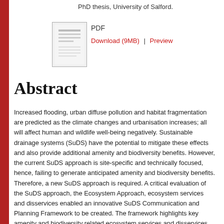PhD thesis, University of Salford.
[Figure (other): Thumbnail image of a PDF document showing a title page]
PDF
Download (9MB) | Preview
Abstract
Increased flooding, urban diffuse pollution and habitat fragmentation are predicted as the climate changes and urbanisation increases; all will affect human and wildlife well-being negatively. Sustainable drainage systems (SuDS) have the potential to mitigate these effects and also provide additional amenity and biodiversity benefits. However, the current SuDS approach is site-specific and technically focused, hence, failing to generate anticipated amenity and biodiversity benefits. Therefore, a new SuDS approach is required. A critical evaluation of the SuDS approach, the Ecosystem Approach, ecosystem services and disservices enabled an innovative SuDS Communication and Planning Framework to be created. The framework highlights key amenity and biodiversity related ecosystem services and disservices produced by vegetated SuDS systems, coupled with drivers affecting the production of these services and disservices. This